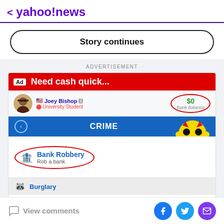< yahoo!news
Story continues
ADVERTISEMENT
[Figure (screenshot): Advertisement for BitLife - Life Simulator app. Shows a red banner 'Need cash quick...', a profile for Joey Bishop (University Student) with $0 Bank Balance circled in red, a blue CRIME menu bar, a Bank Robbery option circled in red with 'Rob a bank' subtitle, a yellow emoji mascot wearing a red bandana, and a Burglary option below.]
BitLife - Life Simulator
View comments